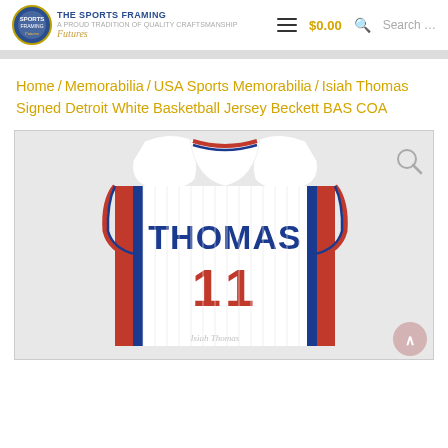THE SPORTS FRAMING Futures — $0.00 — Search…
Home / Memorabilia / USA Sports Memorabilia / Isiah Thomas Signed Detroit White Basketball Jersey Beckett BAS COA
[Figure (photo): Back view of a white Detroit Pistons basketball jersey with 'THOMAS' name and number 11, displayed on a light grey background. The jersey features red and blue trim on the collar and armholes.]